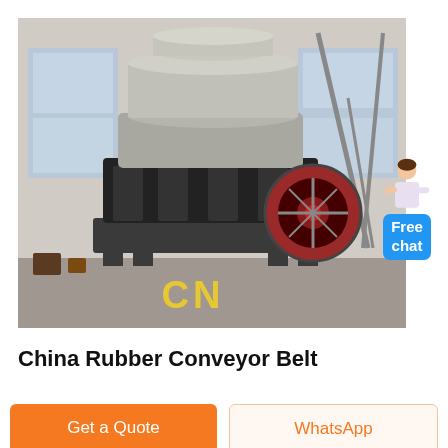[Figure (photo): Industrial cone crusher machine photographed in a factory/warehouse setting. Large cylindrical grey machine with black components, a red flywheel visible on the right side. Metal support frame (A-frame) visible upper right. Yellow 'CN' watermark text at the bottom of the image.]
China Rubber Conveyor Belt
Get a Quote
WhatsApp